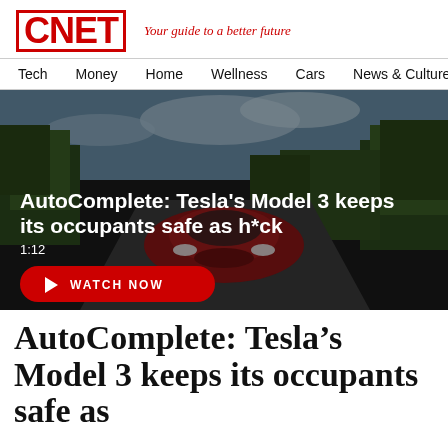CNET — Your guide to a better future
Tech
Money
Home
Wellness
Cars
News & Culture
[Figure (screenshot): Video thumbnail showing a red Tesla Model 3 driving on a road with trees in the background. Overlaid text reads 'AutoComplete: Tesla's Model 3 keeps its occupants safe as h*ck' with duration 1:12 and a red WATCH NOW button.]
AutoComplete: Tesla’s Model 3 keeps its occupants safe as